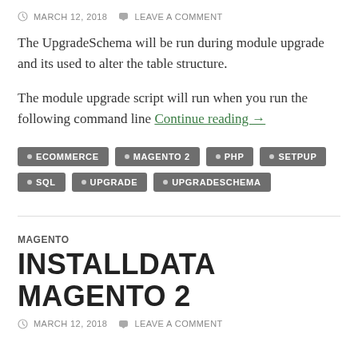MARCH 12, 2018   LEAVE A COMMENT
The UpgradeSchema will be run during module upgrade and its used to alter the table structure.
The module upgrade script will run when you run the following command line Continue reading →
• ECOMMERCE  • MAGENTO 2  • PHP  • SETPUP  • SQL  • UPGRADE  • UPGRADESCHEMA
MAGENTO
INSTALLDATA MAGENTO 2
MARCH 12, 2018   LEAVE A COMMENT